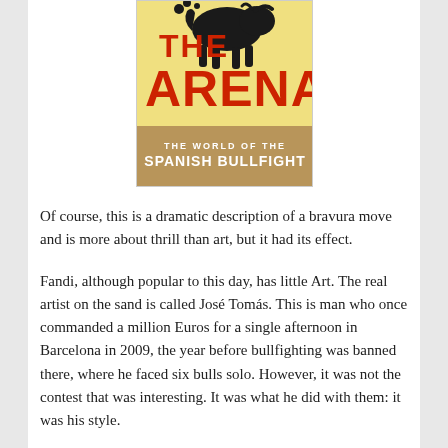[Figure (illustration): Book cover of 'The Arena: The World of the Spanish Bullfight' showing large red letters ARENA on yellow background with black bull silhouette at top and subtitle text at bottom]
Of course, this is a dramatic description of a bravura move and is more about thrill than art, but it had its effect.
Fandi, although popular to this day, has little Art. The real artist on the sand is called José Tomás. This is man who once commanded a million Euros for a single afternoon in Barcelona in 2009, the year before bullfighting was banned there, where he faced six bulls solo. However, it was not the contest that was interesting. It was what he did with them: it was his style.
Within the three acts of this drama, the one the modern Spanish audience reveres most is the last (as, by the way,